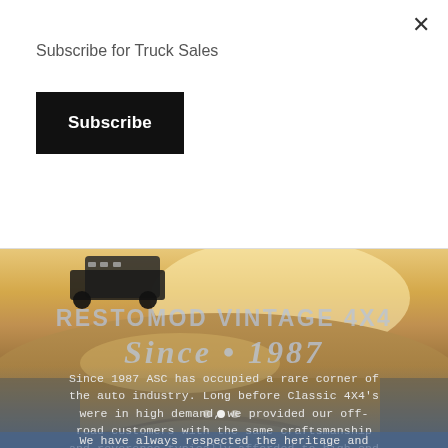Subscribe for Truck Sales
Subscribe
[Figure (photo): A vintage 4x4 truck driving on a dusty off-road terrain with a golden hazy sky. Text overlay reads 'RESTOMOD VINTAGE 4X4' and 'Since 1987' in a semi-transparent style. A blue-tinted area overlays the bottom portion with descriptive text about ASC.]
Since 1987 ASC has occupied a rare corner of the auto industry. Long before Classic 4X4's were in high demand, we provided our off-road customers with the same craftsmanship and reverence typically afforded to high-end hot rod builders or vintage car restorers.
We have always respected the heritage and